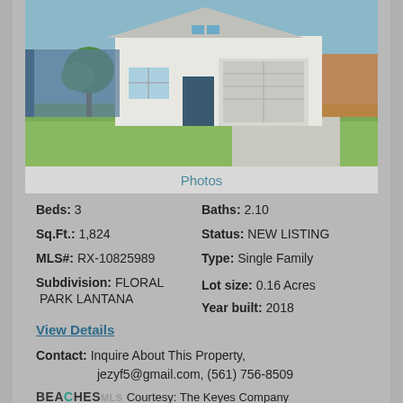[Figure (photo): Exterior photo of a single-family home with white facade, two-car garage, green lawn, and a tree in front]
Photos
Beds: 3    Baths: 2.10
Sq.Ft.: 1,824    Status: NEW LISTING
MLS#: RX-10825989    Type: Single Family
Subdivision: FLORAL PARK LANTANA    Lot size: 0.16 Acres
Year built: 2018
View Details
Contact: Inquire About This Property, jezyf5@gmail.com, (561) 756-8509
BEACHES MLS Courtesy: The Keyes Company
Request Info   Save Property